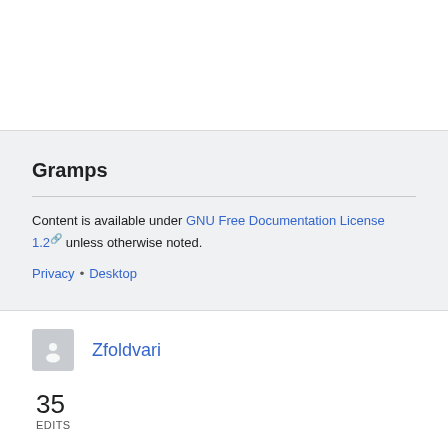Gramps
Content is available under GNU Free Documentation License 1.2 unless otherwise noted.
Privacy • Desktop
Zfoldvari
35 EDITS